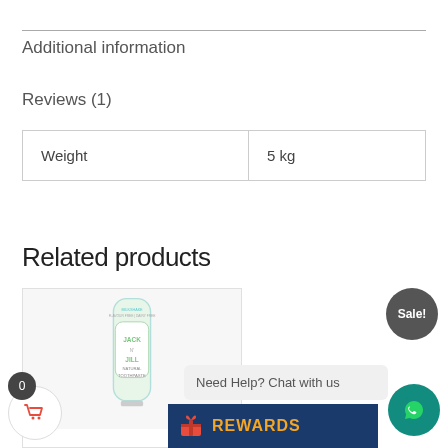Additional information
Reviews (1)
| Weight | 5 kg |
| --- | --- |
| Weight | 5 kg |
Related products
[Figure (photo): Jack N' Jill Natural Toothpaste tube, milkshake flavour free / dairy free]
Sale!
Need Help? Chat with us
[Figure (logo): REWARDS button with gift icon on dark blue background]